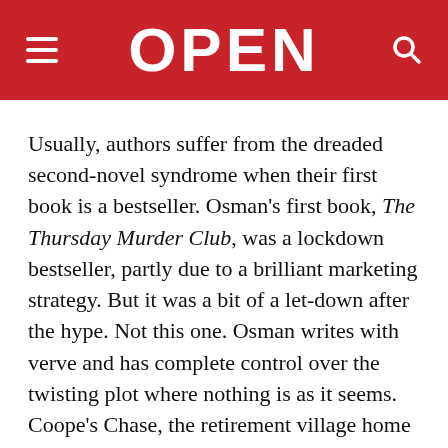OPEN
Usually, authors suffer from the dreaded second-novel syndrome when their first book is a bestseller. Osman’s first book, The Thursday Murder Club, was a lockdown bestseller, partly due to a brilliant marketing strategy. But it was a bit of a let-down after the hype. Not this one. Osman writes with verve and has complete control over the twisting plot where nothing is as it seems. Coope’s Chase, the retirement village home to the Thursday Murder club and the four friends—a retired former spy, a retired nurse, a psychiatrist and a left-leaning political activist. They have to